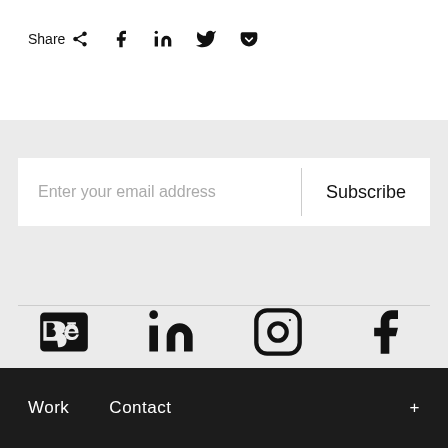Share  f  in  𝕏  ⊕
[Figure (screenshot): Email subscription bar with 'Enter your email address' placeholder and 'Subscribe' button]
[Figure (infographic): Social media icons row: Behance, LinkedIn, Instagram, Facebook]
Work   Contact   +